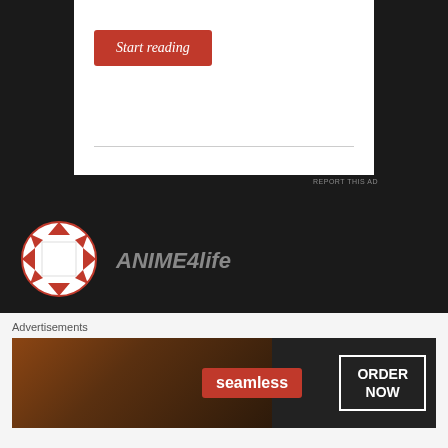[Figure (screenshot): Start reading button on white ad box]
REPORT THIS AD
ANIME4life
NOVEMBER 28, 2019 AT 5:24 PM
Though i appreciate the Jp translations, I can't get myself into it due to the sh*tty father and beta MC ^.^
Like
Advertisements
[Figure (screenshot): Seamless pizza advertisement with ORDER NOW button]